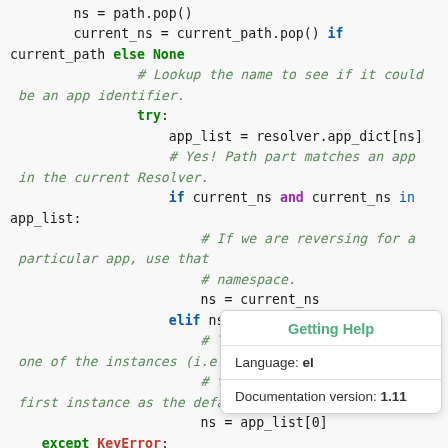[Figure (screenshot): Python source code snippet showing URL resolver namespace logic with syntax highlighting. Code includes variable assignments, try/except blocks, if/elif conditions, and comments. A tooltip overlay shows 'Getting Help', 'Language: el', and 'Documentation version: 1.11'.]